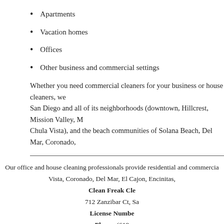Apartments
Vacation homes
Offices
Other business and commercial settings
Whether you need commercial cleaners for your business or house cleaners, we San Diego and all of its neighborhoods (downtown, Hillcrest, Mission Valley, M Chula Vista), and the beach communities of Solana Beach, Del Mar, Coronado,
Our office and house cleaning professionals provide residential and commercia Vista, Coronado, Del Mar, El Cajon, Encinitas, Clean Freak Cle 712 Zanzibar Ct, Sa License Numbe Phone: (619 Email: info@cleanfrea
Home | About Clean Freak | Cleaning Services | Residential Cleaning Discounts | Testimonials | Pamper Yourself | Cleaning FAQs | Cleanin